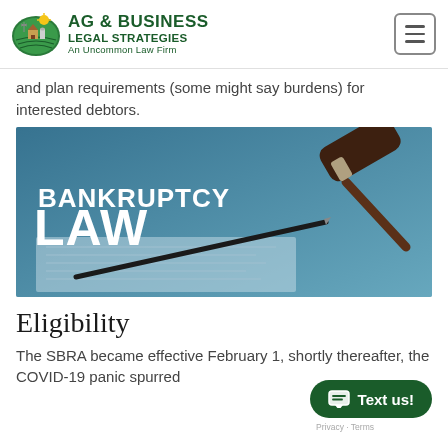Ag & Business Legal Strategies — An Uncommon Law Firm
and plan requirements (some might say burdens) for interested debtors.
[Figure (photo): Bankruptcy Law banner image with a gavel, fountain pen, and legal document on a blue-tinted background. Text reads BANKRUPTCY LAW in large white bold letters.]
Eligibility
The SBRA became effective February 1, shortly thereafter, the COVID-19 panic spurred